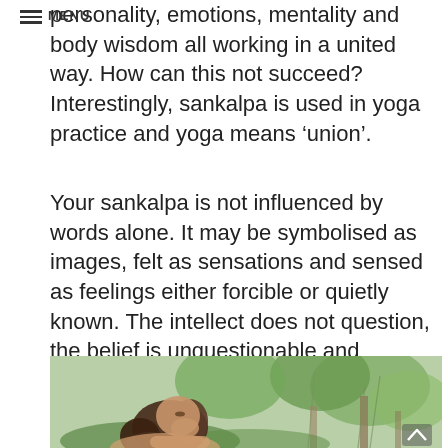☰ MENU
personality, emotions, mentality and body wisdom all working in a united way. How can this not succeed? Interestingly, sankalpa is used in yoga practice and yoga means 'union'.
Your sankalpa is not influenced by words alone. It may be symbolised as images, felt as sensations and sensed as feelings either forcible or quietly known. The intellect does not question, the belief is unquestionable and unshakeable.
[Figure (photo): A woman with curly brown hair looking upward, surrounded by green trees and forest scenery in the background.]